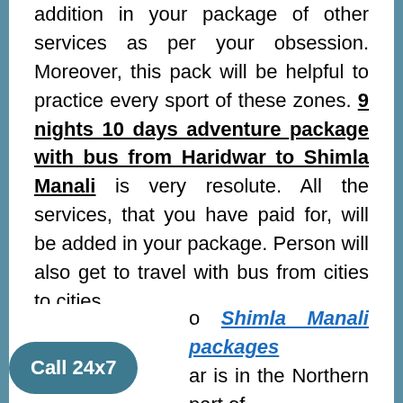addition in your package of other services as per your obsession. Moreover, this pack will be helpful to practice every sport of these zones. 9 nights 10 days adventure package with bus from Haridwar to Shimla Manali is very resolute. All the services, that you have paid for, will be added in your package. Person will also get to travel with bus from cities to cities.
to Shimla Manali packages ar is in the Northern part of